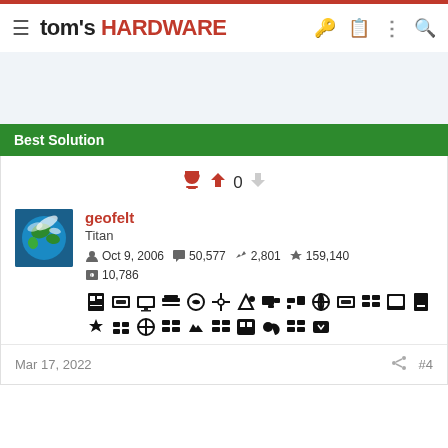tom's HARDWARE
Best Solution
trophy 0 vote
geofelt
Titan
Oct 9, 2006  50,577  2,801  159,140
10,786
Mar 17, 2022  #4